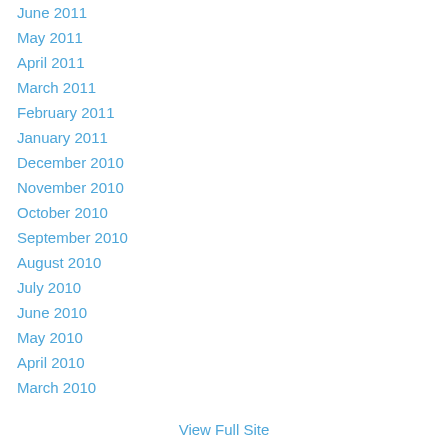June 2011
May 2011
April 2011
March 2011
February 2011
January 2011
December 2010
November 2010
October 2010
September 2010
August 2010
July 2010
June 2010
May 2010
April 2010
March 2010
View Full Site